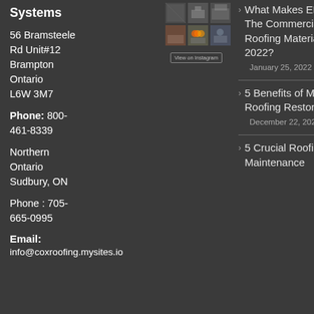Systems
56 Bramsteele Rd Unit#12
Brampton
Ontario
L6W 3M7
Phone: 800-461-8339
Northern Ontario
Sudbury, ON
Phone : 705-665-0995
Email:
info@coxroofing.mysites.io
[Figure (photo): Instagram grid of 6 photos showing roofing work, vehicles, workers in safety vests]
What Makes EPDM The Commercial Roofing Material for 2022? — January 25, 2022
5 Benefits of Metal Roofing Restoration — December 22, 2021
5 Crucial Roofing Maintenance